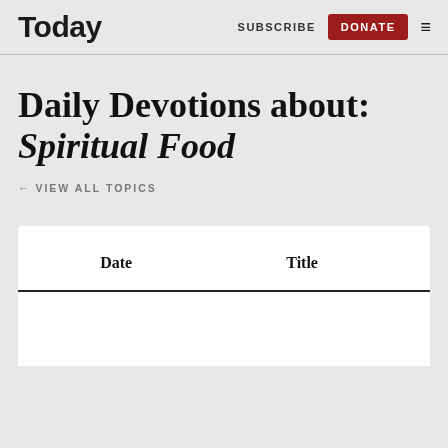Today  SUBSCRIBE  DONATE
Daily Devotions about: Spiritual Food
← VIEW ALL TOPICS
| Date | Title |
| --- | --- |